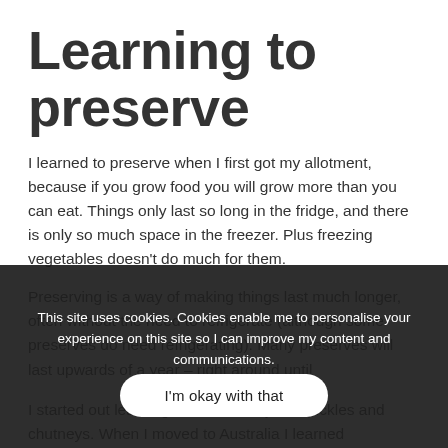Learning to preserve
I learned to preserve when I first got my allotment, because if you grow food you will grow more than you can eat. Things only last so long in the fridge, and there is only so much space in the freezer. Plus freezing vegetables doesn't do much for them.
Preserving is a way of making things last much longer, often without the need to refrigerate (although some preserves do need refrigerating). Many preserves will last upwards of a year – right around until...
This site uses cookies. Cookies enable me to personalise your experience on this site so I can improve my content and communications.
I'm okay with that
I started out learning how to make jams, pickles and chutneys. When I moved to Australia I learned